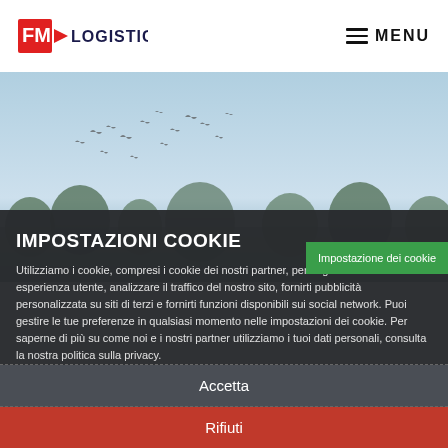FM Logistic — MENU
[Figure (photo): Sky with birds flying, light blue sky background with distant birds silhouettes]
IMPOSTAZIONI COOKIE
Impostazione dei cookie
Utilizziamo i cookie, compresi i cookie dei nostri partner, per migliorare la tua esperienza utente, analizzare il traffico del nostro sito, fornirti pubblicità personalizzata su siti di terzi e fornirti funzioni disponibili sui social network. Puoi gestire le tue preferenze in qualsiasi momento nelle impostazioni dei cookie. Per saperne di più su come noi e i nostri partner utilizziamo i tuoi dati personali, consulta la nostra politica sulla privacy.
Accetta
Rifiuti